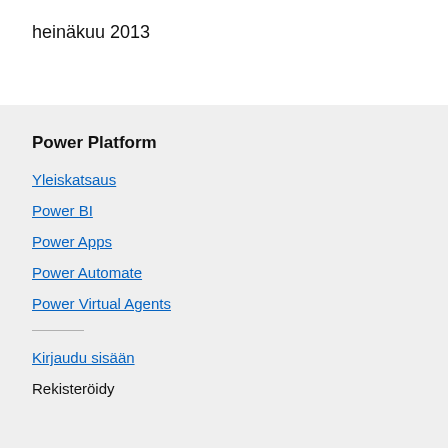heinäkuu 2013
Power Platform
Yleiskatsaus
Power BI
Power Apps
Power Automate
Power Virtual Agents
Kirjaudu sisään
Rekisteröidy